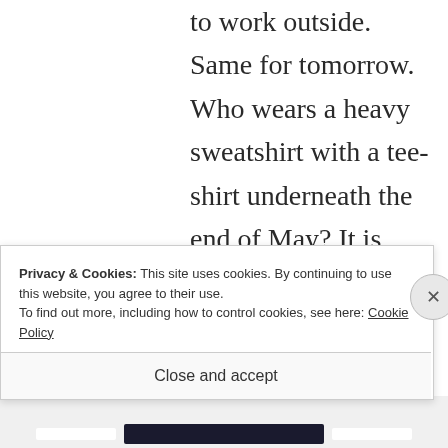to work outside. Same for tomorrow. Who wears a heavy sweatshirt with a tee-shirt underneath the end of May? It is difficult and I will finish when he finishes and right now it will not be a minute too soon. I will enjoy just having my time to myself and
Privacy & Cookies: This site uses cookies. By continuing to use this website, you agree to their use.
To find out more, including how to control cookies, see here: Cookie Policy
Close and accept